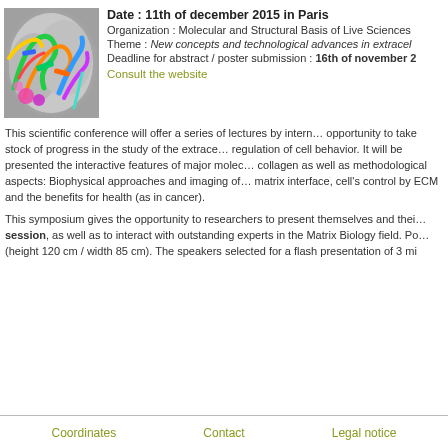[Figure (photo): Colorful molecular/protein structure rendering with green, orange, blue, pink ribbons on grey background]
Date : 11th of december 2015 in Paris
Organization : Molecular and Structural Basis of Live Sciences
Theme : New concepts and technological advances in extracellular matrix
Deadline for abstract / poster submission : 16th of november 2
Consult the website
This scientific conference will offer a series of lectures by internationally recognized scientists and an opportunity to take stock of progress in the study of the extracellular matrix molecules and their regulation of cell behavior. It will be presented the interactive features of major molecular components, collagen as well as methodological aspects: Biophysical approaches and imaging of the cell / extracellular matrix interface, cell's control by ECM and the benefits for health (as in cancer).
This symposium gives the opportunity to researchers to present themselves and their work during a poster session, as well as to interact with outstanding experts in the Matrix Biology field. Posters (height 120 cm / width 85 cm). The speakers selected for a flash presentation of 3 mi
Coordinates   Contact   Legal notice